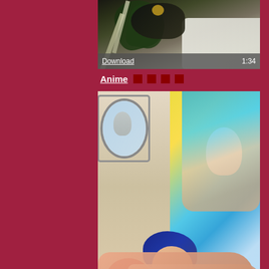[Figure (screenshot): Anime video thumbnail showing anime-style characters, top portion cropped, with Download link and 1:34 duration overlay]
Anime
[Figure (screenshot): Anime video thumbnail showing two anime characters on a bed in an intimate scene, with Download link and 5:27 duration overlay]
Anime
[Figure (screenshot): Anime video thumbnail showing a group of four anime female characters in a dark setting, partially visible]